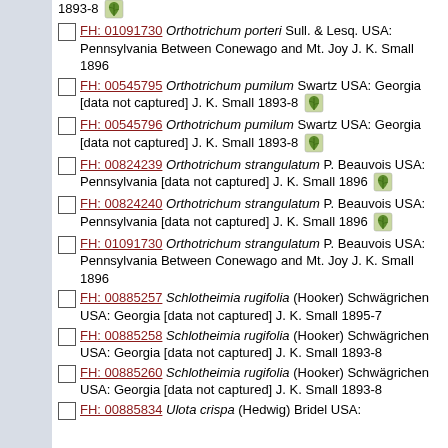1893-8 [leaf icon]
FH: 01091730 Orthotrichum porteri Sull. & Lesq. USA: Pennsylvania Between Conewago and Mt. Joy J. K. Small 1896
FH: 00545795 Orthotrichum pumilum Swartz USA: Georgia [data not captured] J. K. Small 1893-8 [leaf icon]
FH: 00545796 Orthotrichum pumilum Swartz USA: Georgia [data not captured] J. K. Small 1893-8 [leaf icon]
FH: 00824239 Orthotrichum strangulatum P. Beauvois USA: Pennsylvania [data not captured] J. K. Small 1896 [leaf icon]
FH: 00824240 Orthotrichum strangulatum P. Beauvois USA: Pennsylvania [data not captured] J. K. Small 1896 [leaf icon]
FH: 01091730 Orthotrichum strangulatum P. Beauvois USA: Pennsylvania Between Conewago and Mt. Joy J. K. Small 1896
FH: 00885257 Schlotheimia rugifolia (Hooker) Schwägrichen USA: Georgia [data not captured] J. K. Small 1895-7
FH: 00885258 Schlotheimia rugifolia (Hooker) Schwägrichen USA: Georgia [data not captured] J. K. Small 1893-8
FH: 00885260 Schlotheimia rugifolia (Hooker) Schwägrichen USA: Georgia [data not captured] J. K. Small 1893-8
FH: 00885834 Ulota crispa (Hedwig) Bridel USA: